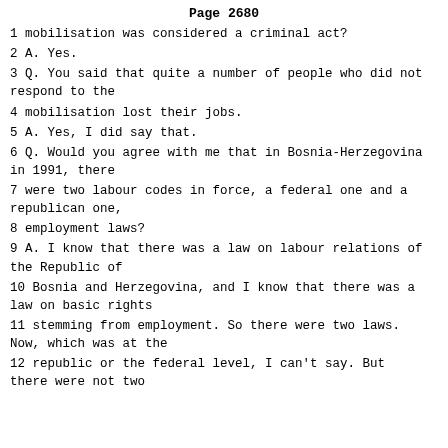Page 2680
1 mobilisation was considered a criminal act?
2 A. Yes.
3 Q. You said that quite a number of people who did not respond to the
4 mobilisation lost their jobs.
5 A. Yes, I did say that.
6 Q. Would you agree with me that in Bosnia-Herzegovina in 1991, there
7 were two labour codes in force, a federal one and a republican one,
8 employment laws?
9 A. I know that there was a law on labour relations of the Republic of
10 Bosnia and Herzegovina, and I know that there was a law on basic rights
11 stemming from employment. So there were two laws. Now, which was at the
12 republic or the federal level, I can't say. But there were not two